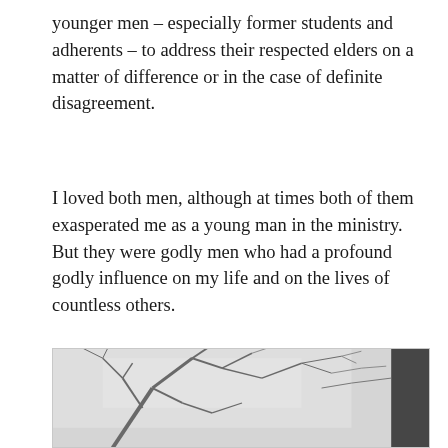younger men – especially former students and adherents – to address their respected elders on a matter of difference or in the case of definite disagreement.
I loved both men, although at times both of them exasperated me as a young man in the ministry. But they were godly men who had a profound godly influence on my life and on the lives of countless others.
[Figure (photo): Black and white photograph of bare tree branches against a light sky, with a dark tree trunk visible on the right side.]